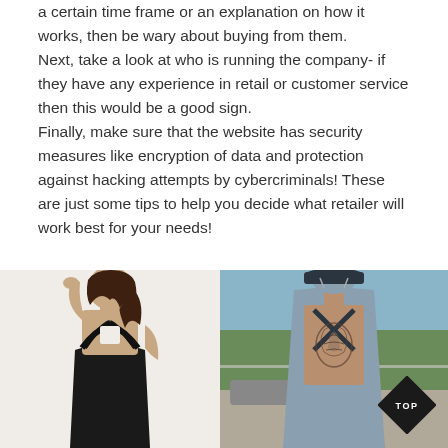a certain time frame or an explanation on how it works, then be wary about buying from them.
Next, take a look at who is running the company- if they have any experience in retail or customer service then this would be a good sign.
Finally, make sure that the website has security measures like encryption of data and protection against hacking attempts by cybercriminals! These are just some tips to help you decide what retailer will work best for your needs!
[Figure (photo): Two side-by-side fashion photos. Left: a woman with brown hair wearing a black halter-neck crossover dress, posing with one hand behind her head. Right: a person seen from behind wearing a dark halter-style swimsuit or dress, wearing a dark bucket hat, outdoors with trees in the background and a diamond-shaped 'TOP' badge overlay in the bottom right corner.]